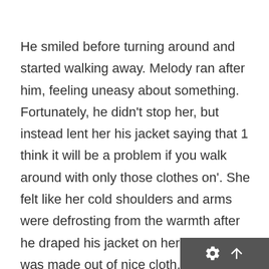He smiled before turning around and started walking away. Melody ran after him, feeling uneasy about something. Fortunately, he didn't stop her, but instead lent her his jacket saying that 1 think it will be a problem if you walk around with only those clothes on'. She felt like her cold shoulders and arms were defrosting from the warmth after he draped his jacket on her. Besides, it was made out of nice cloth, and it felt really good to the touch.
Melody realized one thing as she fiddled with the sleeves of his coat – the clothes he was wearing now were also the clothes he wore earlier today. She now knew that he was still awake at such a late hour. He must have attended a